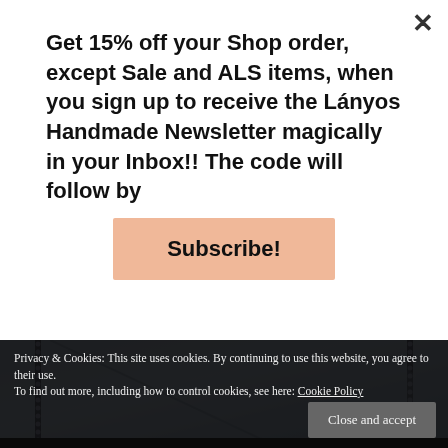Get 15% off your Shop order, except Sale and ALS items, when you sign up to receive the Lányos Handmade Newsletter magically in your Inbox!! The code will follow by
Subscribe!
[Figure (photo): Close-up photo of light blue fabric with decorative dotted border stitch along edges, resembling a handmade item or notebook cover]
Privacy & Cookies: This site uses cookies. By continuing to use this website, you agree to their use. To find out more, including how to control cookies, see here: Cookie Policy
Close and accept